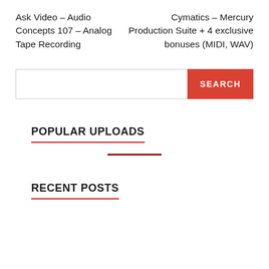Ask Video – Audio Concepts 107 – Analog Tape Recording
Cymatics – Mercury Production Suite + 4 exclusive bonuses (MIDI, WAV)
SEARCH
POPULAR UPLOADS
RECENT POSTS